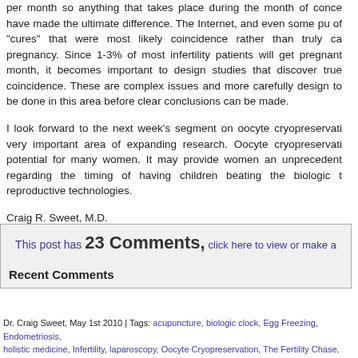per month so anything that takes place during the month of conception may have made the ultimate difference. The Internet, and even some publications, are full of "cures" that were most likely coincidence rather than truly causative of the pregnancy. Since 1-3% of most infertility patients will get pregnant in any month, it becomes important to design studies that discover true causation versus coincidence. These are complex issues and more carefully designed studies need to be done in this area before clear conclusions can be made.
I look forward to the next week's segment on oocyte cryopreservation. This is a very important area of expanding research. Oocyte cryopreservation shows great potential for many women. It may provide women an unprecedented opportunity regarding the timing of having children beating the biologic time clock using reproductive technologies.
Craig R. Sweet, M.D.
Reproductive Endocrinologist
www.DreamABaby.com
This post has 23 Comments, click here to view or make a comment
Recent Comments
Dr. Craig Sweet, May 1st 2010 | Tags: acupuncture, biologic clock, Egg Freezing, Endometriosis, holistic medicine, Infertility, laparoscopy, Oocyte Cryopreservation, The Fertility Chase, unexplained infertility | Posted in Uncategorized